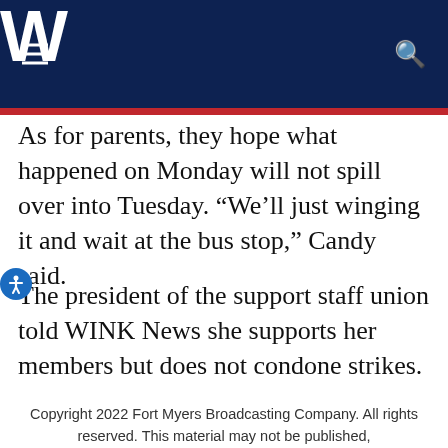W
As for parents, they hope what happened on Monday will not spill over into Tuesday. “We’ll just winging it and wait at the bus stop,” Candy said.
The president of the support staff union told WINK News she supports her members but does not condone strikes.
Copyright 2022 Fort Myers Broadcasting Company. All rights reserved. This material may not be published,